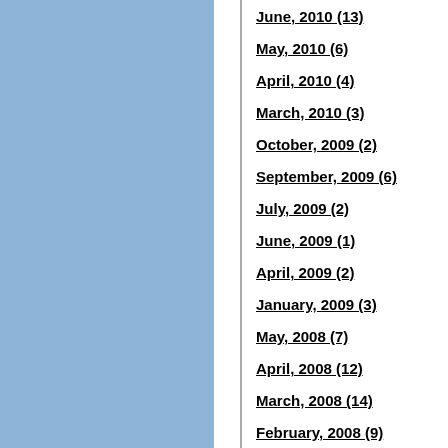June, 2010 (13)
May, 2010 (6)
April, 2010 (4)
March, 2010 (3)
October, 2009 (2)
September, 2009 (6)
July, 2009 (2)
June, 2009 (1)
April, 2009 (2)
January, 2009 (3)
May, 2008 (7)
April, 2008 (12)
March, 2008 (14)
February, 2008 (9)